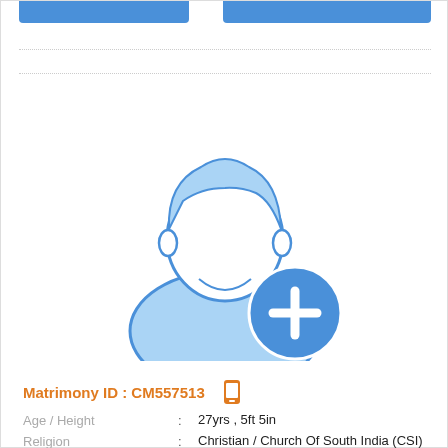[Figure (illustration): Male profile placeholder avatar with a blue plus/add button circle in the bottom right corner. The avatar is a flat icon style male silhouette in light blue with a darker blue outline.]
Matrimony ID : CM557513
| Age / Height | : | 27yrs , 5ft 5in |
| Religion | : | Christian / Church Of South India (CSI) |
| Caste / Subcaste | : | Adi Dravidar (SC), Parayan-Parayar |
| Education | : | Bsc Discontinued |